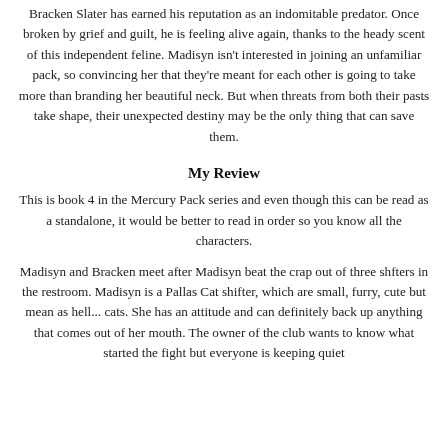Bracken Slater has earned his reputation as an indomitable predator. Once broken by grief and guilt, he is feeling alive again, thanks to the heady scent of this independent feline. Madisyn isn't interested in joining an unfamiliar pack, so convincing her that they're meant for each other is going to take more than branding her beautiful neck. But when threats from both their pasts take shape, their unexpected destiny may be the only thing that can save them.
My Review
This is book 4 in the Mercury Pack series and even though this can be read as a standalone, it would be better to read in order so you know all the characters.
Madisyn and Bracken meet after Madisyn beat the crap out of three shfters in the restroom. Madisyn is a Pallas Cat shifter, which are small, furry, cute but mean as hell... cats. She has an attitude and can definitely back up anything that comes out of her mouth. The owner of the club wants to know what started the fight but everyone is keeping quiet